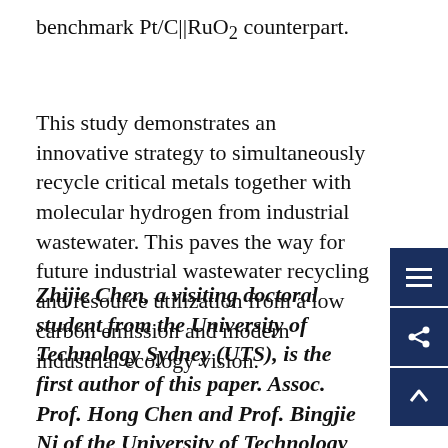benchmark Pt/C||RuO2 counterpart.
This study demonstrates an innovative strategy to simultaneously recycle critical metals together with molecular hydrogen from industrial wastewater. This paves the way for future industrial wastewater recycling and resource utilization from a low carbon emission and modern industrial ecology vision.
Zhijie Chen, a visiting doctoral student from the University of Technology Sydney (UTS), is the first author of this paper. Assoc. Prof. Hong Chen and Prof. Bingjie Ni of the University of Technology Sydney (UTS) are the co-corresponding authors, and SUSTech is the first unit of the paper.